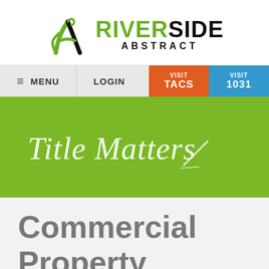[Figure (logo): Riverside Abstract logo with green stylized A/tree icon and bold RIVERSIDE text in green and black, with ABSTRACT subtitle]
[Figure (screenshot): Navigation bar with hamburger menu MENU, LOGIN, orange VISIT TACS button, blue VISIT 1031 button]
[Figure (illustration): Green hero banner with cursive script text Title Matters and a pen/pencil line icon]
Commercial Property Buyers